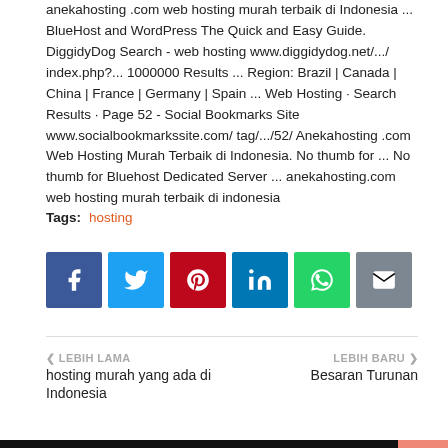anekahosting .com web hosting murah terbaik di Indonesia ... BlueHost and WordPress The Quick and Easy Guide. DiggidyDog Search - web hosting www.diggidydog.net/.../ index.php?... 1000000 Results ... Region: Brazil | Canada | China | France | Germany | Spain ... Web Hosting · Search Results · Page 52 - Social Bookmarks Site www.socialbookmarkssite.com/ tag/.../52/ Anekahosting .com Web Hosting Murah Terbaik di Indonesia. No thumb for ... No thumb for Bluehost Dedicated Server ... anekahosting.com web hosting murah terbaik di indonesia
Tags: hosting
[Figure (infographic): Row of 6 social media share buttons: Facebook (blue), Twitter (light blue), Pinterest (red), LinkedIn (dark blue), WhatsApp (green), Email (grey)]
‹ LEBIH LAMA
hosting murah yang ada di Indonesia
LEBIH BARU ›
Besaran Turunan
ANDA MUNGKIN MENYUKAI POSTINGAN INI
July 31, 2013